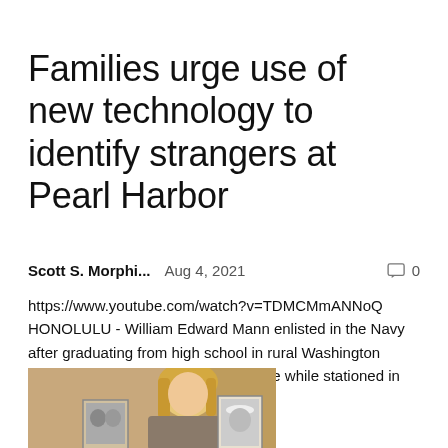Families urge use of new technology to identify strangers at Pearl Harbor
Scott S. Morphi...   Aug 4, 2021   0
https://www.youtube.com/watch?v=TDMCMmANNoQ HONOLULU - William Edward Mann enlisted in the Navy after graduating from high school in rural Washington state. Guitarist, he learned the ukulele while stationed in Hawaii. He has been...
[Figure (photo): Woman with blonde hair holding up two old black-and-white photos of men]